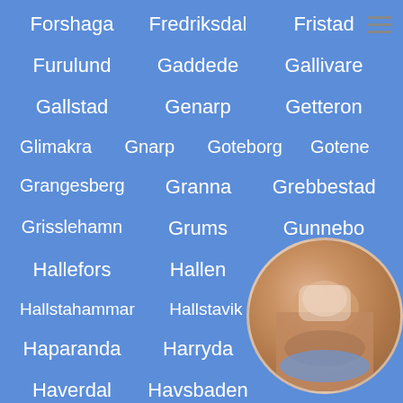Forshaga   Fredriksdal   Fristad
Furulund   Gaddede   Gallivare
Gallstad   Genarp   Getteron
Glimakra   Gnarp   Goteborg   Gotene
Grangesberg   Granna   Grebbestad
Grisslehamn   Grums   Gunnebo
Hallefors   Hallen   Hallsberg
Hallstahammar   Hallstavik   Halmstad
Haparanda   Harryda   Ha...
Haverdal   Havsbaden
Helsingborg   Hemse   Hjalm...